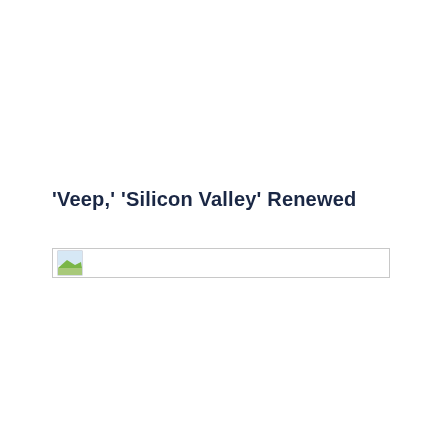'Veep,' 'Silicon Valley' Renewed
[Figure (photo): Broken/missing image placeholder with a small icon showing a landscape thumbnail in the top-left corner]